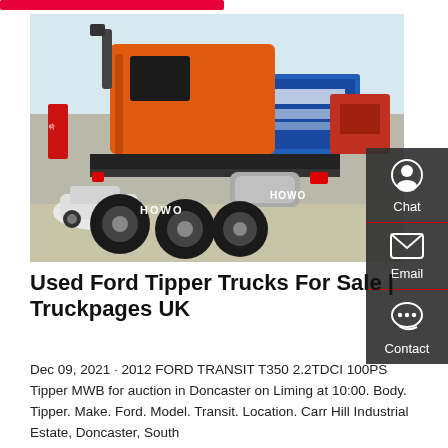[Figure (photo): Orange HOWO truck (tractor unit) photographed from the rear-left, parked in a lot with other trucks and vehicles visible in the background.]
Used Ford Tipper Trucks For Sale | Truckpages UK
Dec 09, 2021 · 2012 FORD TRANSIT T350 2.2TDCI 100PS Tipper MWB for auction in Doncaster on Liming at 10:00. Body. Tipper. Make. Ford. Model. Transit. Location. Carr Hill Industrial Estate, Doncaster, South